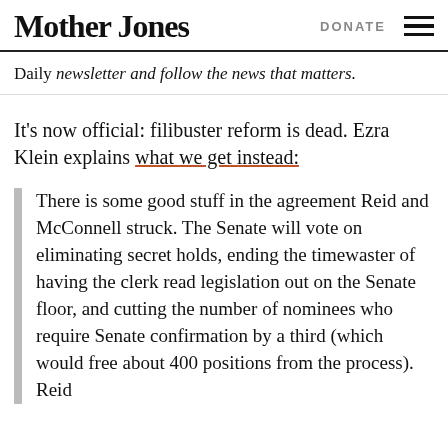Mother Jones | DONATE
Daily newsletter and follow the news that matters.
It's now official: filibuster reform is dead. Ezra Klein explains what we get instead:
There is some good stuff in the agreement Reid and McConnell struck. The Senate will vote on eliminating secret holds, ending the timewaster of having the clerk read legislation out on the Senate floor, and cutting the number of nominees who require Senate confirmation by a third (which would free about 400 positions from the process). Reid